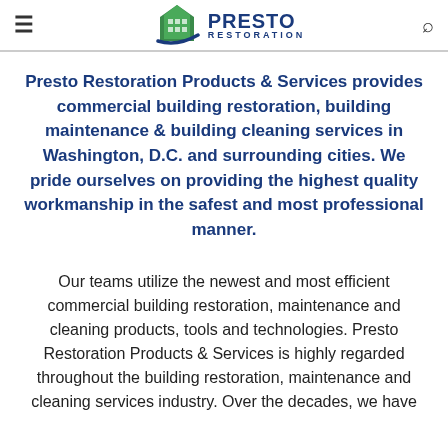Presto Restoration
Presto Restoration Products & Services provides commercial building restoration, building maintenance & building cleaning services in Washington, D.C. and surrounding cities. We pride ourselves on providing the highest quality workmanship in the safest and most professional manner.
Our teams utilize the newest and most efficient commercial building restoration, maintenance and cleaning products, tools and technologies. Presto Restoration Products & Services is highly regarded throughout the building restoration, maintenance and cleaning services industry. Over the decades, we have